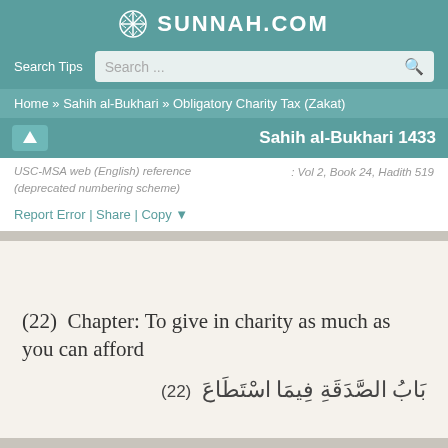SUNNAH.COM
Search Tips  Search ...
Home » Sahih al-Bukhari » Obligatory Charity Tax (Zakat)
Sahih al-Bukhari 1433
USC-MSA web (English) reference (deprecated numbering scheme)  : Vol 2, Book 24, Hadith 519
Report Error | Share | Copy ▼
(22)  Chapter: To give in charity as much as you can afford
(22)  باب الصَّدَقَةِ فِيمَا اسْتَطَاعَ